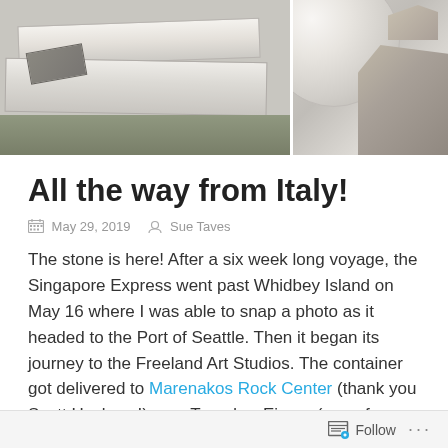[Figure (photo): Two photos side by side showing white marble stone blocks and a large white marble sphere outdoors, along with rocky stone pieces on grass/gravel.]
All the way from Italy!
May 29, 2019   Sue Taves
The stone is here! After a six week long voyage, the Singapore Express went past Whidbey Island on May 16 where I was able to snap a photo as it headed to the Port of Seattle. Then it began its journey to the Freeland Art Studios. The container got delivered to Marenakos Rock Center (thank you Scott Hackney!) on a Tuesday. Eirene (one of my fellow sculptors from Italy) and her husband
Follow ...